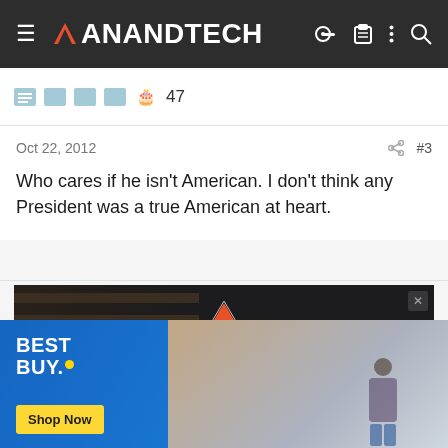AnandTech
47
Oct 22, 2012  #3
Who cares if he isn't American. I don't think any President was a true American at heart.
[Figure (photo): Ampere advertisement banner with red triangle logo on dark background]
[Figure (photo): Best Buy advertisement with blue gradient background, Best Buy logo, Shop Now button, and image of person in modern office]